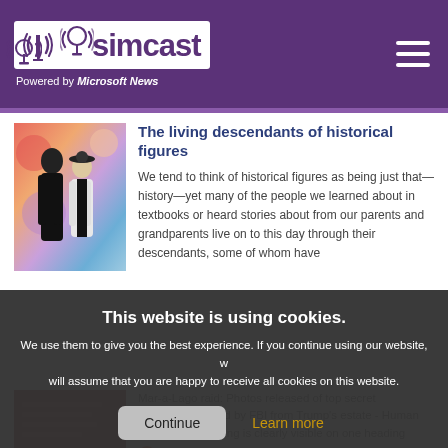simcast — Powered by Microsoft News
The living descendants of historical figures
We tend to think of historical figures as being just that—history—yet many of the people we learned about in textbooks or heard stories about from our parents and grandparents live on to this day through their descendants, some of whom have
This website is using cookies. We use them to give you the best experience. If you continue using our website, we will assume that you are happy to receive all cookies on this website.
Continue   Learn more
Mar-a-Lago raid: Photos released of top secret documents seized by FBI from Trump's estate - Human intelligence marking is clearly visible on one heading